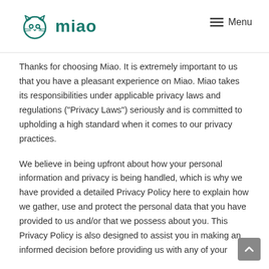[Figure (logo): Miao brand logo with cat face icon in teal/green and the word 'miao' in teal text]
≡ Menu
Thanks for choosing Miao. It is extremely important to us that you have a pleasant experience on Miao. Miao takes its responsibilities under applicable privacy laws and regulations ("Privacy Laws") seriously and is committed to upholding a high standard when it comes to our privacy practices.
We believe in being upfront about how your personal information and privacy is being handled, which is why we have provided a detailed Privacy Policy here to explain how we gather, use and protect the personal data that you have provided to us and/or that we possess about you. This Privacy Policy is also designed to assist you in making an informed decision before providing us with any of your